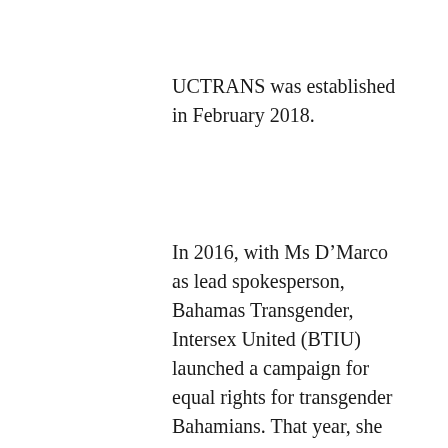UCTRANS was established in February 2018.
In 2016, with Ms D’Marco as lead spokesperson, Bahamas Transgender, Intersex United (BTIU) launched a campaign for equal rights for transgender Bahamians. That year, she estimated there were more than 50 transgender people living in The Bahamas.